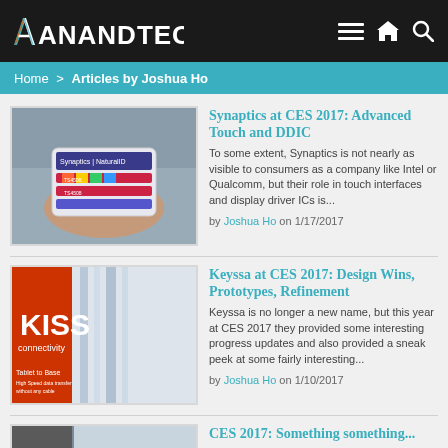AnandTech
Home > Articles by Joshua Ho
[Figure (photo): Person holding Synaptics NaturalID touch sensor demo board]
Synaptics at CES 2017: Advanced Touch and DDIC
To some extent, Synaptics is not nearly as visible to consumers as a company like Intel or Qualcomm, but their role in touch interfaces and display driver ICs is...
by Joshua Ho on 1/17/2017
[Figure (photo): KISS connectivity tablet to base product packaging — red book/box with white KISS text]
Keyssa at CES 2017: Design Wins, Prototypes, Refinement
Keyssa is no longer a new name, but this year at CES 2017 they provided some interesting progress updates and also provided a sneak peek at some fairly interesting...
by Joshua Ho on 1/10/2017
[Figure (photo): Third article thumbnail — partially visible]
CES 2017: Something something...